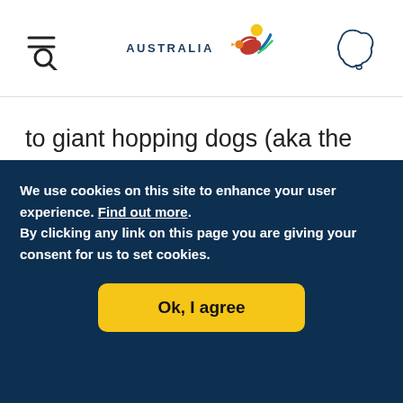AUSTRALIA [logo with kangaroo/bird icon] [Australia map outline icon]
to giant hopping dogs (aka the kangaroo), meet our weird and wonderful creatures with these unforgettable experiences.
THE FRILLED NECK LIZARD
We use cookies on this site to enhance your user experience. Find out more. By clicking any link on this page you are giving your consent for us to set cookies.
Ok, I agree